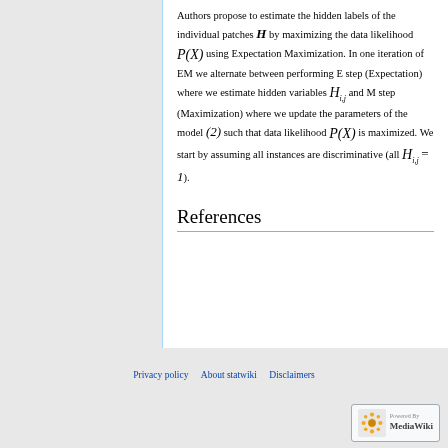Authors propose to estimate the hidden labels of the individual patches H by maximizing the data likelihood P(X) using Expectation Maximization. In one iteration of EM we alternate between performing E step (Expectation) where we estimate hidden variables H_{i,j} and M step (Maximization) where we update the parameters of the model (2) such that data likelihood P(X) is maximized. We start by assuming all instances are discriminative (all H_{i,j} = 1).
References
Privacy policy  About statwiki  Disclaimers